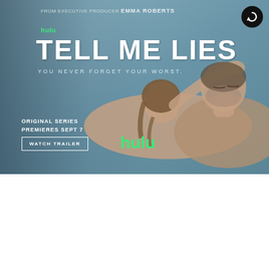[Figure (screenshot): Hulu advertisement banner for 'Tell Me Lies' original series. Shows two people lying together on a bed against a muted blue-grey background. Text reads: FROM EXECUTIVE PRODUCER EMMA ROBERTS, hulu, TELL ME LIES, YOU NEVER FORGET YOUR WORST, ORIGINAL SERIES PREMIERES SEPT 7, WATCH TRAILER button, hulu logo. Refresh/replay button in top right corner.]
THOUGHT CATALOG
All The Right Pieces   TikTok   Instagram   Books   Collecti...
[Figure (photo): Blurred outdoor photo showing a woman smiling in the background, with wildflowers/plants in the foreground, warm sepia/golden tones.]